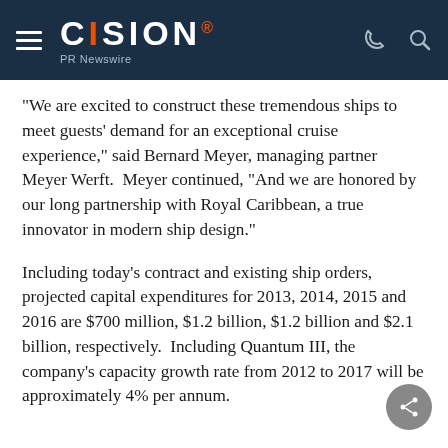CISION PR Newswire
"We are excited to construct these tremendous ships to meet guests' demand for an exceptional cruise experience," said Bernard Meyer, managing partner Meyer Werft.  Meyer continued, "And we are honored by our long partnership with Royal Caribbean, a true innovator in modern ship design."
Including today's contract and existing ship orders, projected capital expenditures for 2013, 2014, 2015 and 2016 are $700 million, $1.2 billion, $1.2 billion and $2.1 billion, respectively.  Including Quantum III, the company's capacity growth rate from 2012 to 2017 will be approximately 4% per annum.